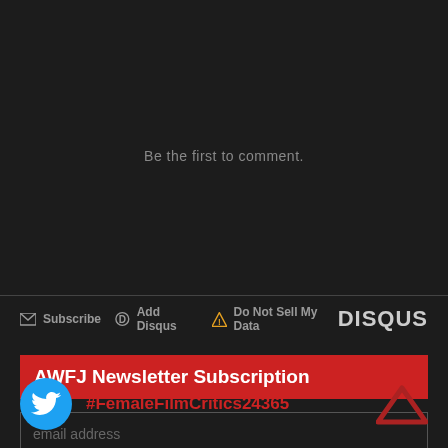Be the first to comment.
[Figure (screenshot): Disqus comment section footer bar with Subscribe, Add Disqus, Do Not Sell My Data links and DISQUS logo]
AWFJ Newsletter Subscription
email address
Subscribe
#FemaleFilmCritics24365
[Figure (illustration): Twitter bird logo in blue circle]